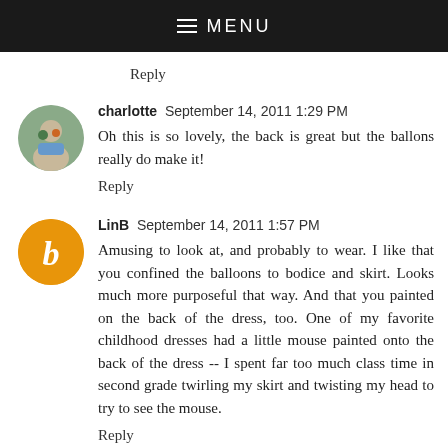MENU
Reply
charlotte  September 14, 2011 1:29 PM
Oh this is so lovely, the back is great but the ballons really do make it!
Reply
LinB  September 14, 2011 1:57 PM
Amusing to look at, and probably to wear. I like that you confined the balloons to bodice and skirt. Looks much more purposeful that way. And that you painted on the back of the dress, too. One of my favorite childhood dresses had a little mouse painted onto the back of the dress -- I spent far too much class time in second grade twirling my skirt and twisting my head to try to see the mouse.
Reply